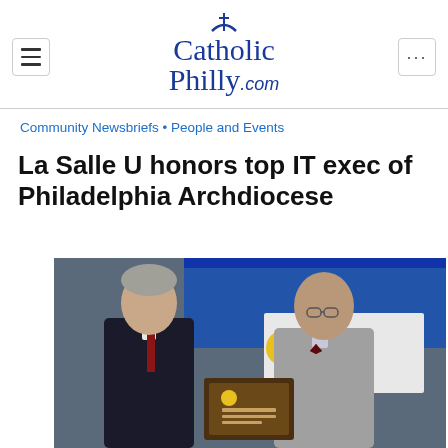CatholicPhilly.com
Community Newsbriefs • People and Events
La Salle U honors top IT exec of Philadelphia Archdiocese
[Figure (photo): Two men in formal attire standing in front of a La Salle University banner, holding a plaque award. The man on the left wears a dark suit with a striped tie; the man on the right wears a grey blazer and bow tie.]